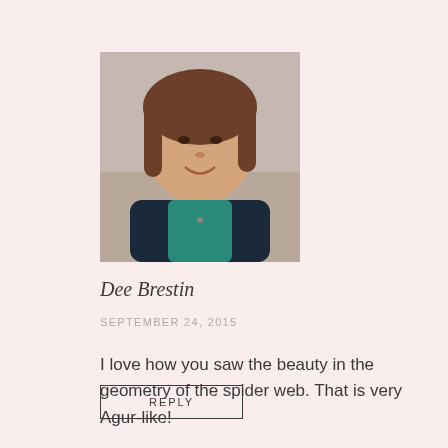[Figure (photo): Portrait photo of a woman with brown hair, smiling, wearing a dark jacket and teal top]
Dee Brestin
SEPTEMBER 24, 2015
I love how you saw the beauty in the geometry of the spider web. That is very Agur-like!
REPLY